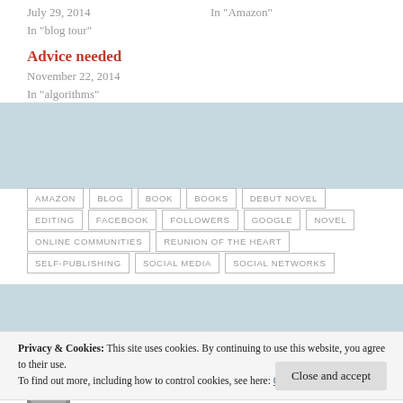July 29, 2014
In "blog tour"
In "Amazon"
Advice needed
November 22, 2014
In "algorithms"
AMAZON
BLOG
BOOK
BOOKS
DEBUT NOVEL
EDITING
FACEBOOK
FOLLOWERS
GOOGLE
NOVEL
ONLINE COMMUNITIES
REUNION OF THE HEART
SELF-PUBLISHING
SOCIAL MEDIA
SOCIAL NETWORKS
Privacy & Cookies: This site uses cookies. By continuing to use this website, you agree to their use.
To find out more, including how to control cookies, see here: Cookie Policy
Close and accept
Published by Elaine